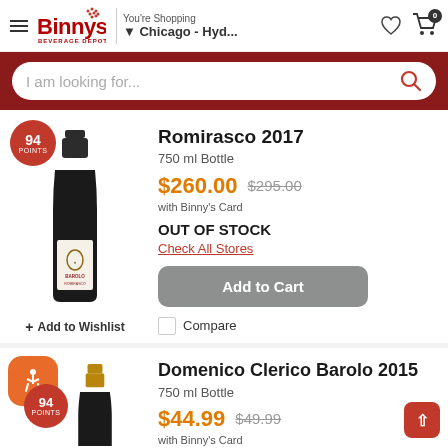Binny's Beverage Depot — You're Shopping Chicago - Hyd...
I am looking for...
Romirasco 2017
750 ml Bottle
$260.00  $295.00  with Binny's Card
OUT OF STOCK
Check All Stores
Add to Cart
+ Add to Wishlist
Compare
Domenico Clerico Barolo 2015
750 ml Bottle
$44.99  $49.99  with Binny's Card